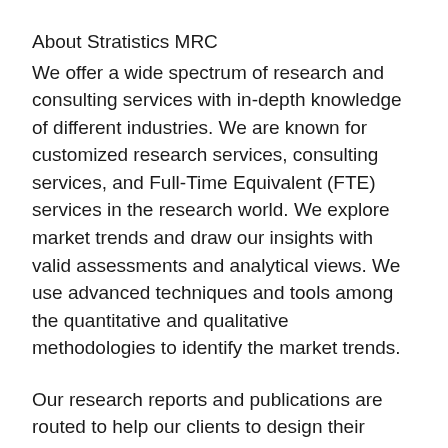About Stratistics MRC
We offer a wide spectrum of research and consulting services with in-depth knowledge of different industries. We are known for customized research services, consulting services, and Full-Time Equivalent (FTE) services in the research world. We explore market trends and draw our insights with valid assessments and analytical views. We use advanced techniques and tools among the quantitative and qualitative methodologies to identify the market trends.
Our research reports and publications are routed to help our clients to design their business models and enhance their business growth in the competitive market scenario. We have a strong team with hand-